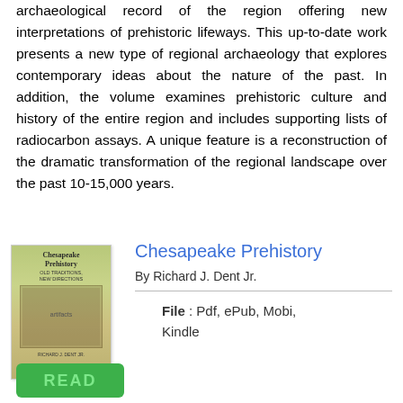archaeological record of the region offering new interpretations of prehistoric lifeways. This up-to-date work presents a new type of regional archaeology that explores contemporary ideas about the nature of the past. In addition, the volume examines prehistoric culture and history of the entire region and includes supporting lists of radiocarbon assays. A unique feature is a reconstruction of the dramatic transformation of the regional landscape over the past 10-15,000 years.
Chesapeake Prehistory
By Richard J. Dent Jr.
File : Pdf, ePub, Mobi, Kindle
[Figure (photo): Book cover of Chesapeake Prehistory with green/yellow coloring]
READ